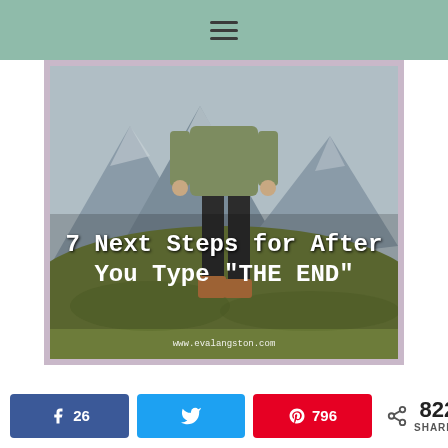☰
[Figure (photo): Person standing on a grassy hillside with mountains in the background, wearing tan boots and dark pants. Text overlay reads: 7 Next Steps for After You Type "THE END" — www.evalangston.com]
26
796
822 SHARES